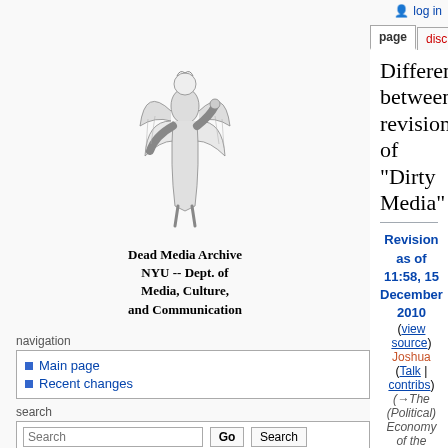log in
page | discussion | view source | history
[Figure (illustration): Angel/classical figure illustration for Dead Media Archive, NYU Dept. of Media, Culture, and Communication]
Dead Media Archive
NYU -- Dept. of Media, Culture, and Communication
navigation
Main page
Recent changes
search
Difference between revisions of "Dirty Media"
Revision as of 11:58, 15 December 2010 (view source)
Joshua (Talk | contribs)
(→The (Political) Economy of the Dump)
← Older edit
Revision as of 11:58, 15 December 2010 (view source)
Joshua (Talk | contribs)
(→The (Political) Economy of the Dump)
Newer edit →
Line 110:
Line 110:
"Very soon, the sheer volume of e-waste will compel America to adopt design strategies
"Very soon, the sheer volume of e-waste will compel America to adopt design strategies